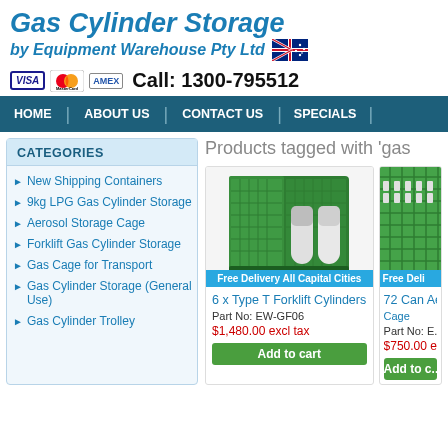Gas Cylinder Storage
by Equipment Warehouse Pty Ltd
Call: 1300-795512
HOME | ABOUT US | CONTACT US | SPECIALS
CATEGORIES
New Shipping Containers
9kg LPG Gas Cylinder Storage
Aerosol Storage Cage
Forklift Gas Cylinder Storage
Gas Cage for Transport
Gas Cylinder Storage (General Use)
Gas Cylinder Trolley
Products tagged with 'gas
[Figure (photo): Green gas cylinder storage cabinet with open door showing two white LPG cylinders inside, with 'Free Delivery All Capital Cities' banner]
6 x Type T Forklift Cylinders
Part No: EW-GF06
$1,480.00 excl tax
Add to cart
[Figure (photo): Green aerosol storage cage with grid pattern, partially visible on right side, with 'Free Deli' banner]
72 Can Ae... Cage
Part No: E...
$750.00 e...
Add to c...